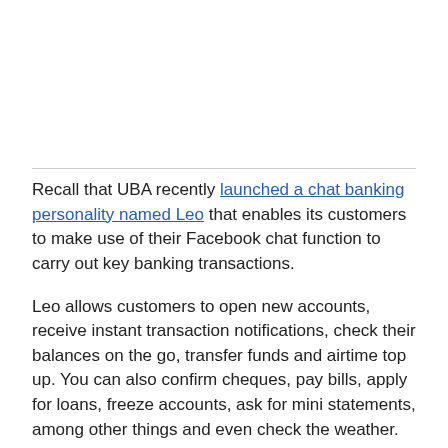[Figure (other): Image placeholder at the top of the page, with a horizontal rule divider at the bottom.]
Recall that UBA recently launched a chat banking personality named Leo that enables its customers to make use of their Facebook chat function to carry out key banking transactions.
Leo allows customers to open new accounts, receive instant transaction notifications, check their balances on the go, transfer funds and airtime top up. You can also confirm cheques, pay bills, apply for loans, freeze accounts, ask for mini statements, among other things and even check the weather.